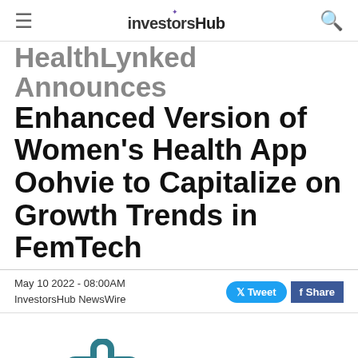InvestorsHub
HealthLynked Announces Enhanced Version of Women's Health App Oohvie to Capitalize on Growth Trends in FemTech
May 10 2022 - 08:00AM
InvestorsHub NewsWire
[Figure (logo): HealthLynked company logo — teal cross/chain-link icon with 'HealthLynked' wordmark in teal]